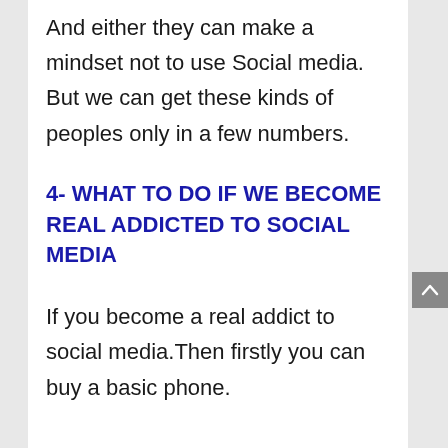And either they can make a mindset not to use Social media. But we can get these kinds of peoples only in a few numbers.
4- WHAT TO DO IF WE BECOME REAL ADDICTED TO SOCIAL MEDIA
If you become a real addict to social media.Then firstly you can buy a basic phone.